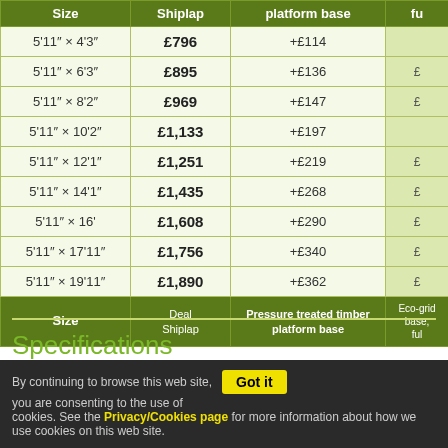| Size | Shiplap | platform base | fu... |
| --- | --- | --- | --- |
| 5'11" × 4'3" | £796 | +£114 |  |
| 5'11" × 6'3" | £895 | +£136 | £... |
| 5'11" × 8'2" | £969 | +£147 | £... |
| 5'11" × 10'2" | £1,133 | +£197 |  |
| 5'11" × 12'1" | £1,251 | +£219 | £... |
| 5'11" × 14'1" | £1,435 | +£268 | £... |
| 5'11" × 16' | £1,608 | +£290 | £... |
| 5'11" × 17'11" | £1,756 | +£340 | £... |
| 5'11" × 19'11" | £1,890 | +£362 | £... |
Specifications
By continuing to browse this web site, you are consenting to the use of cookies. See the Privacy/Cookies page for more information about how we use cookies on this web site.